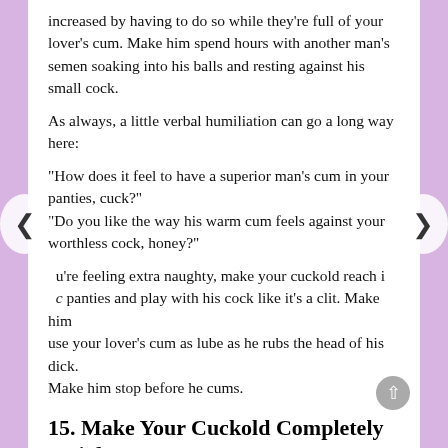increased by having to do so while they're full of your lover's cum. Make him spend hours with another man's semen soaking into his balls and resting against his small cock.
As always, a little verbal humiliation can go a long way here:
"How does it feel to have a superior man's cum in your panties, cuck?"
"Do you like the way his warm cum feels against your worthless cock, honey?"
If you're feeling extra naughty, make your cuckold reach into his panties and play with his cock like it's a clit. Make him use your lover's cum as lube as he rubs the head of his dick. Make him stop before he cums.
15. Make Your Cuckold Completely Satisfy Your Lover
We're in full bisexual territory here, because you're going to make your cuckold do all the work of making your lover cum. He's going to suck cock and he's going to get fucked. He's going to be a performer overing...